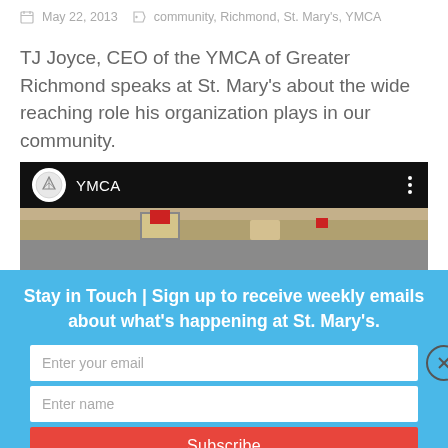May 22, 2013   community, Richmond, St. Mary's, YMCA
TJ Joyce, CEO of the YMCA of Greater Richmond speaks at St. Mary's about the wide reaching role his organization plays in our community.
[Figure (screenshot): Embedded YouTube video showing YMCA channel with a thumbnail of a person in a room]
Stay in Touch | Sign up to receive weekly emails about what's happening at St. Mary's.
Enter your email
Enter name
Subscribe